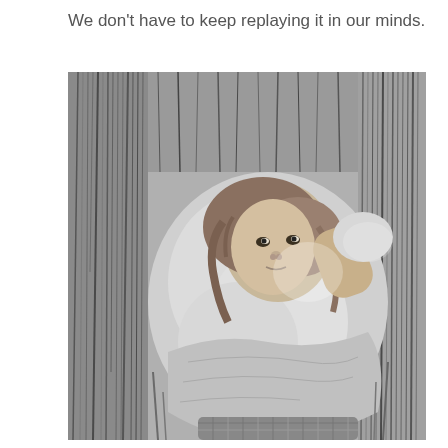We don't have to keep replaying it in our minds.
[Figure (photo): Black and white photograph of a young child lying on their back in tall grass, looking upward, wrapped in a soft fleece blanket. The child has long hair and a peaceful, contemplative expression. The grass surrounds them on all sides.]